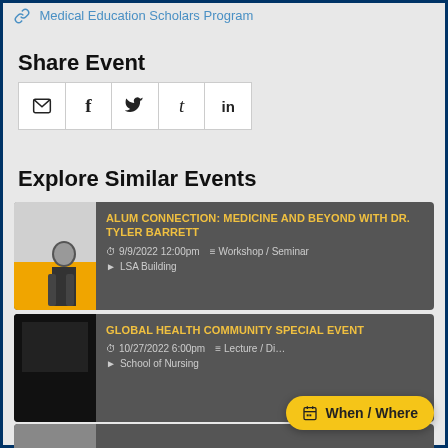Medical Education Scholars Program
Share Event
[Figure (other): Social share buttons: email, Facebook, Twitter, Tumblr, LinkedIn]
Explore Similar Events
[Figure (other): Event card: ALUM CONNECTION: MEDICINE AND BEYOND WITH DR. TYLER BARRETT, 9/9/2022 12:00pm, Workshop / Seminar, LSA Building]
[Figure (other): Event card: GLOBAL HEALTH COMMUNITY SPECIAL EVENT, 10/27/2022 6:00pm, Lecture / Di..., School of Nursing]
[Figure (other): Partially visible third event card]
When / Where